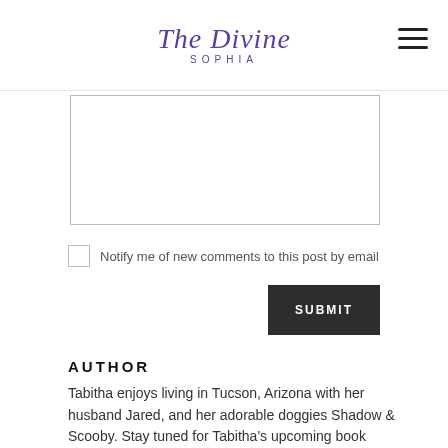The Divine SOPHIA
[Figure (other): Text area input box for comment submission]
Notify me of new comments to this post by email
SUBMIT
AUTHOR
Tabitha enjoys living in Tucson, Arizona with her husband Jared, and her adorable doggies Shadow & Scooby. Stay tuned for Tabitha's upcoming book Serendipity in which she